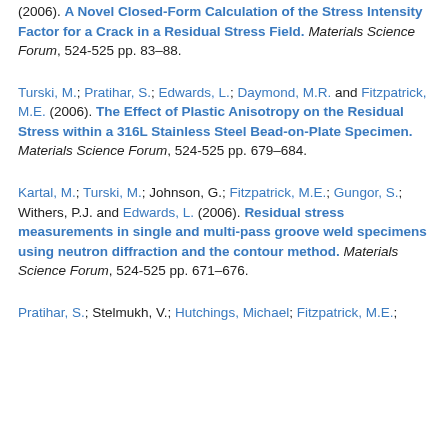(2006). A Novel Closed-Form Calculation of the Stress Intensity Factor for a Crack in a Residual Stress Field. Materials Science Forum, 524-525 pp. 83–88.
Turski, M.; Pratihar, S.; Edwards, L.; Daymond, M.R. and Fitzpatrick, M.E. (2006). The Effect of Plastic Anisotropy on the Residual Stress within a 316L Stainless Steel Bead-on-Plate Specimen. Materials Science Forum, 524-525 pp. 679–684.
Kartal, M.; Turski, M.; Johnson, G.; Fitzpatrick, M.E.; Gungor, S.; Withers, P.J. and Edwards, L. (2006). Residual stress measurements in single and multi-pass groove weld specimens using neutron diffraction and the contour method. Materials Science Forum, 524-525 pp. 671–676.
Pratihar, S.; Stelmukh, V.; Hutchings, Michael; Fitzpatrick, M.E.;